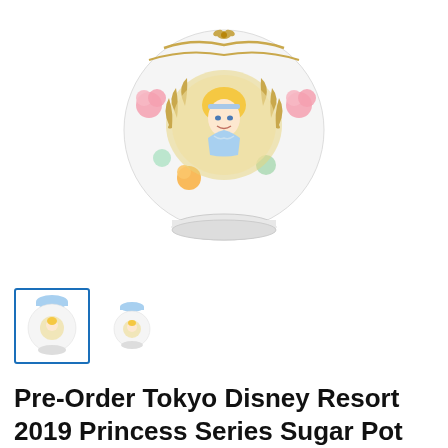[Figure (photo): Close-up photo of a round white ceramic sugar pot with a Cinderella portrait in a gold laurel wreath medallion at center, surrounded by pink and yellow floral designs and gold swag/ribbon decorations. The pot sits on a white circular base.]
[Figure (photo): Two small thumbnail images of the same Cinderella sugar pot, the first selected (highlighted with blue border), showing front view; second shows a slightly different angle.]
Pre-Order Tokyo Disney Resort 2019 Princess Series Sugar Pot Cinderella
Sold out  $52.99 USD